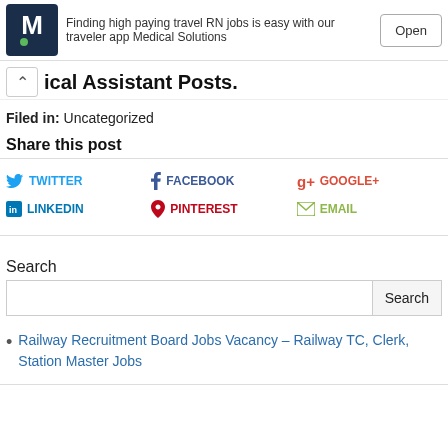[Figure (other): Medical Solutions app advertisement banner with logo, text 'Finding high paying travel RN jobs is easy with our traveler app Medical Solutions', and an Open button]
...ical Assistant Posts.
Filed in: Uncategorized
Share this post
TWITTER  FACEBOOK  GOOGLE+  LINKEDIN  PINTEREST  EMAIL
Search
Railway Recruitment Board Jobs Vacancy – Railway TC, Clerk, Station Master Jobs